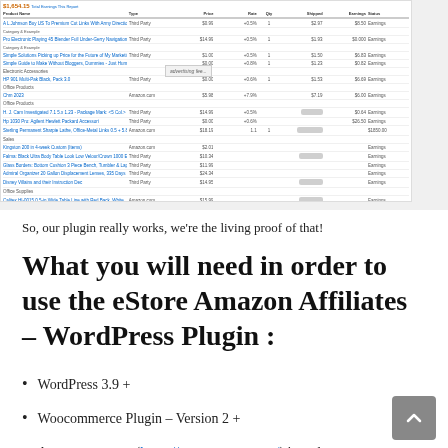[Figure (screenshot): Amazon Associates earnings report screenshot showing a table of affiliate product sales with columns for product name, type, price, rate, quantity, earnings, and status. Includes a summary section at the bottom with total items shipped, earnings, and refunds. Some columns have blurred/redacted bar graphics. An 'advertising fee...' overlay text is partially visible.]
So, our plugin really works, we're the living proof of that!
What you will need in order to use the eStore Amazon Affiliates – WordPress Plugin :
WordPress 3.9 +
Woocommerce Plugin – Version 2 +
Amazon account (https://aws.amazon.com/) in order to